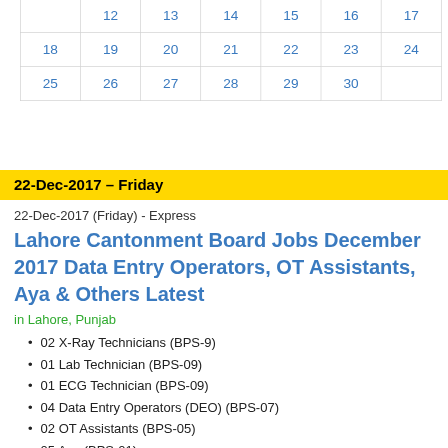|  | 12 | 13 | 14 | 15 | 16 | 17 |
| 18 | 19 | 20 | 21 | 22 | 23 | 24 |
| 25 | 26 | 27 | 28 | 29 | 30 |  |
22-Dec-2017 – Friday
22-Dec-2017 (Friday) - Express
Lahore Cantonment Board Jobs December 2017 Data Entry Operators, OT Assistants, Aya & Others Latest
in Lahore, Punjab
02 X-Ray Technicians (BPS-9)
01 Lab Technician (BPS-09)
01 ECG Technician (BPS-09)
04 Data Entry Operators (DEO) (BPS-07)
02 OT Assistants (BPS-05)
05 Aya (BPS-01)
03 Sanitary Workers (BPS-01)